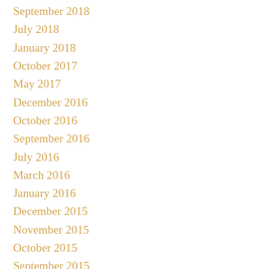September 2018
July 2018
January 2018
October 2017
May 2017
December 2016
October 2016
September 2016
July 2016
March 2016
January 2016
December 2015
November 2015
October 2015
September 2015